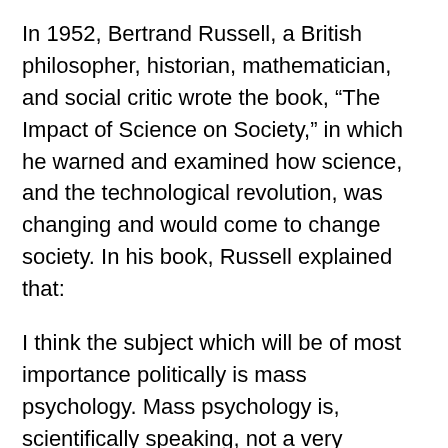In 1952, Bertrand Russell, a British philosopher, historian, mathematician, and social critic wrote the book, “The Impact of Science on Society,” in which he warned and examined how science, and the technological revolution, was changing and would come to change society. In his book, Russell explained that:
I think the subject which will be of most importance politically is mass psychology. Mass psychology is, scientifically speaking, not a very advanced study... This study is immensely useful to practical men, whether they wish to become rich or to acquire the government. It is, of course, as a science, founded upon individual psychology, but hitherto it has employed rule-of-thumb methods which were based